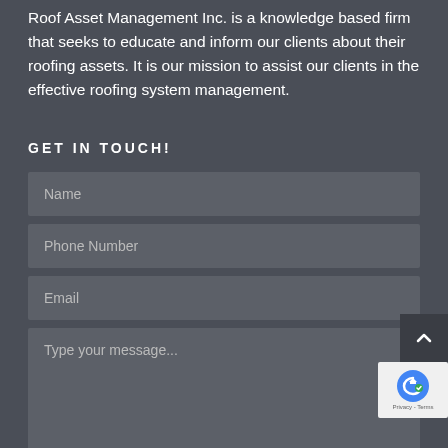Roof Asset Management Inc. is a knowledge based firm that seeks to educate and inform our clients about their roofing assets. It is our mission to assist our clients in the effective roofing system management.
GET IN TOUCH!
[Figure (screenshot): Web contact form with fields: Name, Phone Number, Email, and a message textarea with placeholder 'Type your message...']
[Figure (other): Scroll-to-top button with upward chevron arrow]
[Figure (other): reCAPTCHA badge with robot icon and Privacy - Terms text]